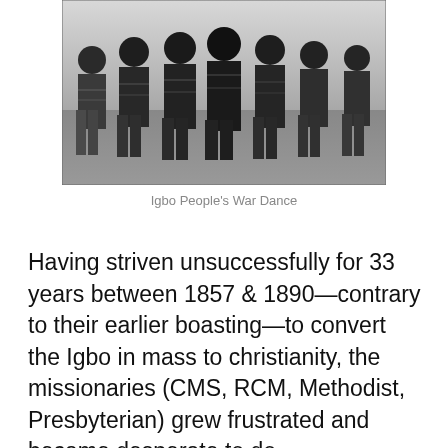[Figure (photo): Black and white photograph of Igbo men performing a war dance, shirtless and wearing traditional patterned wrap-around garments, holding various objects, gathered outdoors on grass.]
Igbo People's War Dance
Having striven unsuccessfully for 33 years between 1857 & 1890—contrary to their earlier boasting—to convert the Igbo in mass to christianity, the missionaries (CMS, RCM, Methodist, Presbyterian) grew frustrated and became desperate to do EVERYTHING POSSIBLE, good or bad, to advance their ambition and scheme. To catalyse this desperation to convert